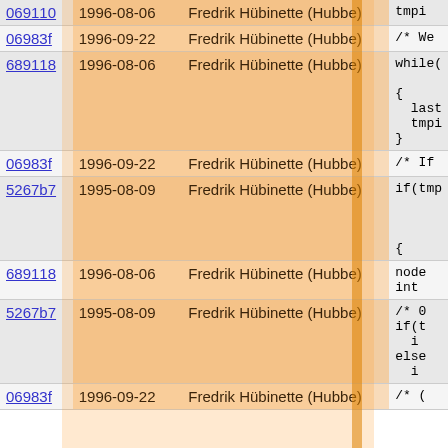| hash | date | author | code |
| --- | --- | --- | --- |
| 069110 | 1996-08-06 | Fredrik Hübinette (Hubbe) | tmpi |
| 06983f | 1996-09-22 | Fredrik Hübinette (Hubbe) | /* We |
| 689118 | 1996-08-06 | Fredrik Hübinette (Hubbe) | while(


{
  last
  tmpi
} |
| 06983f | 1996-09-22 | Fredrik Hübinette (Hubbe) | /* If |
| 5267b7 | 1995-08-09 | Fredrik Hübinette (Hubbe) | if(tmp



{
 |
| 689118 | 1996-08-06 | Fredrik Hübinette (Hubbe) | node
int |
| 5267b7 | 1995-08-09 | Fredrik Hübinette (Hubbe) | /* 0
if(t
  i
else
  i |